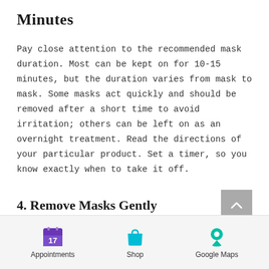Minutes
Pay close attention to the recommended mask duration. Most can be kept on for 10-15 minutes, but the duration varies from mask to mask. Some masks act quickly and should be removed after a short time to avoid irritation; others can be left on as an overnight treatment. Read the directions of your particular product. Set a timer, so you know exactly when to take it off.
4. Remove Masks Gently
[Figure (other): Bottom navigation bar with three icons: a purple calendar icon labeled Appointments, a cyan shopping bag icon labeled Shop, and a teal map pin icon labeled Google Maps]